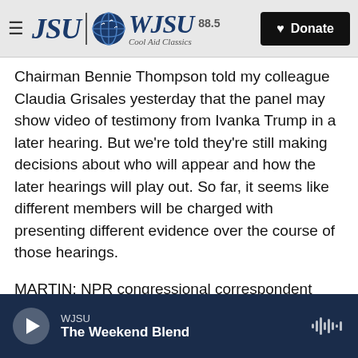[Figure (screenshot): WJSU 88.5 Cool Aid Classics radio station navigation bar with hamburger menu, logo, and Donate button]
Chairman Bennie Thompson told my colleague Claudia Grisales yesterday that the panel may show video of testimony from Ivanka Trump in a later hearing. But we're told they're still making decisions about who will appear and how the later hearings will play out. So far, it seems like different members will be charged with presenting different evidence over the course of those hearings.
MARTIN: NPR congressional correspondent Kelsey Snell. Thanks, Kelsey. Appreciate you.
SNELL: Thank you.
[Figure (screenshot): Audio player bar showing WJSU The Weekend Blend with play button and waveform icon on dark navy background]